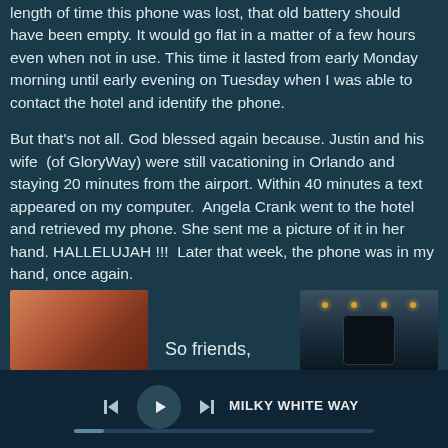length of time this phone was lost, that old battery should have been empty. It would go flat in a matter of a few hours even when not in use. This time it lasted from early Monday morning until early evening on Tuesday when I was able to contact the hotel and identify the phone.
But that’s not all. God blessed again because. Justin and his wife (of GloryWay) were still vacationing in Orlando and staying 20 minutes from the airport. Within 40 minutes a text appeared on my computer. Angela Crank went to the hotel and retrieved my phone. She sent me a picture of it in her hand. HALLELUJAH !!! Later that week, the phone was in my hand, once again.
[Figure (photo): Photo of a phone being held in a hand, reddish/orange tones]
So friends,
[Figure (photo): Photo of a black phone or device outdoors at dusk with lights in background]
MILKY WHITE WAY